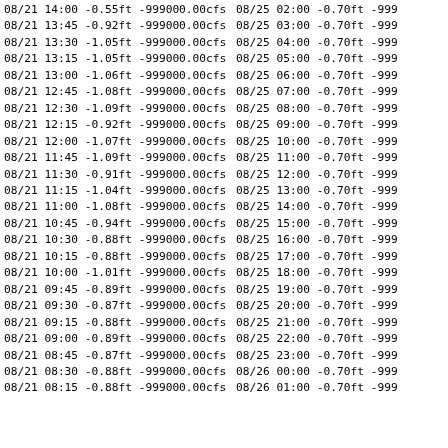| Date | Time | Stage | Flow |
| --- | --- | --- | --- |
| 08/21 | 14:00 | -0.55ft | -999000.00cfs |
| 08/21 | 13:45 | -0.92ft | -999000.00cfs |
| 08/21 | 13:30 | -1.05ft | -999000.00cfs |
| 08/21 | 13:15 | -1.05ft | -999000.00cfs |
| 08/21 | 13:00 | -1.06ft | -999000.00cfs |
| 08/21 | 12:45 | -1.08ft | -999000.00cfs |
| 08/21 | 12:30 | -1.09ft | -999000.00cfs |
| 08/21 | 12:15 | -0.92ft | -999000.00cfs |
| 08/21 | 12:00 | -1.07ft | -999000.00cfs |
| 08/21 | 11:45 | -1.09ft | -999000.00cfs |
| 08/21 | 11:30 | -0.91ft | -999000.00cfs |
| 08/21 | 11:15 | -1.04ft | -999000.00cfs |
| 08/21 | 11:00 | -1.08ft | -999000.00cfs |
| 08/21 | 10:45 | -0.94ft | -999000.00cfs |
| 08/21 | 10:30 | -0.88ft | -999000.00cfs |
| 08/21 | 10:15 | -0.88ft | -999000.00cfs |
| 08/21 | 10:00 | -1.01ft | -999000.00cfs |
| 08/21 | 09:45 | -0.89ft | -999000.00cfs |
| 08/21 | 09:30 | -0.87ft | -999000.00cfs |
| 08/21 | 09:15 | -0.88ft | -999000.00cfs |
| 08/21 | 09:00 | -0.89ft | -999000.00cfs |
| 08/21 | 08:45 | -0.87ft | -999000.00cfs |
| 08/21 | 08:30 | -0.88ft | -999000.00cfs |
| 08/21 | 08:15 | -0.88ft | -999000.00cfs |
| 08/25 | 02:00 | -0.70ft | -999... |
| 08/25 | 03:00 | -0.70ft | -999... |
| 08/25 | 04:00 | -0.70ft | -999... |
| 08/25 | 05:00 | -0.70ft | -999... |
| 08/25 | 06:00 | -0.70ft | -999... |
| 08/25 | 07:00 | -0.70ft | -999... |
| 08/25 | 08:00 | -0.70ft | -999... |
| 08/25 | 09:00 | -0.70ft | -999... |
| 08/25 | 10:00 | -0.70ft | -999... |
| 08/25 | 11:00 | -0.70ft | -999... |
| 08/25 | 12:00 | -0.70ft | -999... |
| 08/25 | 13:00 | -0.70ft | -999... |
| 08/25 | 14:00 | -0.70ft | -999... |
| 08/25 | 15:00 | -0.70ft | -999... |
| 08/25 | 16:00 | -0.70ft | -999... |
| 08/25 | 17:00 | -0.70ft | -999... |
| 08/25 | 18:00 | -0.70ft | -999... |
| 08/25 | 19:00 | -0.70ft | -999... |
| 08/25 | 20:00 | -0.70ft | -999... |
| 08/25 | 21:00 | -0.70ft | -999... |
| 08/25 | 22:00 | -0.70ft | -999... |
| 08/25 | 23:00 | -0.70ft | -999... |
| 08/26 | 00:00 | -0.70ft | -999... |
| 08/26 | 01:00 | -0.70ft | -999... |